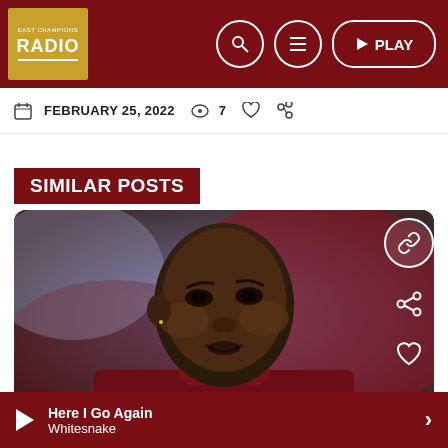RADIO — Navigation header with search, menu, and PLAY buttons
FEBRUARY 25, 2022  👁 7  ♡  share
SIMILAR POSTS
[Figure (photo): Close-up photo of a Black male footballer wearing a dark maroon/claret Betway-branded jacket, looking intensely with mouth slightly open, blurred background]
Here I Go Again — Whitesnake (player bar)